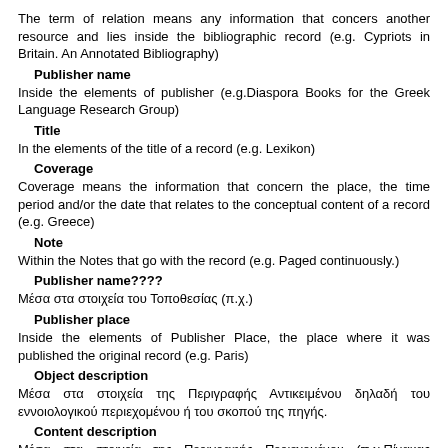The term of relation means any information that concers another resource and lies inside the bibliographic record (e.g. Cypriots in Britain. An Annotated Bibliography)
Publisher name
Inside the elements of publisher (e.g.Diaspora Books for the Greek Language Research Group)
Title
In the elements of the title of a record (e.g. Lexikon)
Coverage
Coverage means the information that concern the place, the time period and/or the date that relates to the conceptual content of a record (e.g. Greece)
Note
Within the Notes that go with the record (e.g. Paged continuously.)
Publisher name????
Μέσα στα στοιχεία του Τοποθεσίας (π.χ.)
Publisher place
Inside the elements of Publisher Place, the place where it was published the original record (e.g. Paris)
Object description
Μέσα στα στοιχεία της Περιγραφής Αντικειμένου δηλαδή του εννοιολογικού περιεχομένου ή του σκοπού της πηγής.
Content description
Μέσα στα στοιχεία της Περιγραφής Περιεχομένου (π.χ.Πίνακας μεταφράσεων του Βελτείρου)